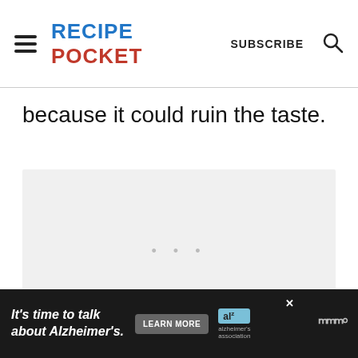RECIPE POCKET | SUBSCRIBE
because it could ruin the taste.
[Figure (photo): Image placeholder area with light gray background]
It's time to talk about Alzheimer's. LEARN MORE